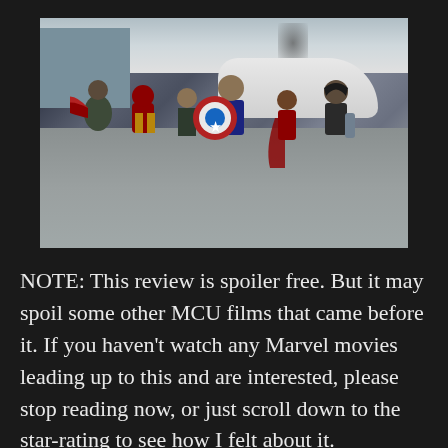[Figure (photo): A movie still from Captain America: Civil War showing several Marvel superheroes running across an airport tarmac. Characters include Falcon with red wings, Iron Man in red and gold armor, Hawkeye, Captain America holding his shield, Scarlet Witch in red, and Winter Soldier with a metal arm. An airplane and airport buildings are visible in the background.]
NOTE: This review is spoiler free.  But it may spoil some other MCU films that came before it.  If you haven't watch any Marvel movies leading up to this and are interested, please stop reading now, or just scroll down to the star-rating to see how I felt about it.